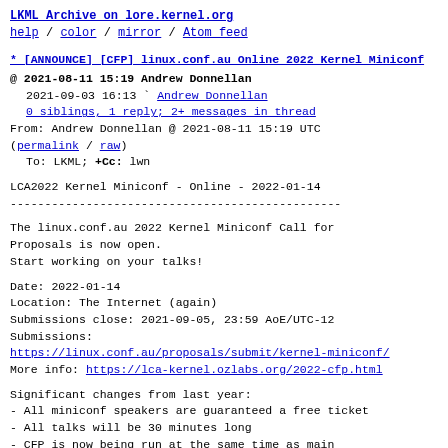LKML Archive on lore.kernel.org
help / color / mirror / Atom feed
* [ANNOUNCE] [CFP] linux.conf.au Online 2022 Kernel Miniconf
@ 2021-08-11 15:19 Andrew Donnellan
  2021-09-03 16:13 ` Andrew Donnellan
  0 siblings, 1 reply; 2+ messages in thread
From: Andrew Donnellan @ 2021-08-11 15:19 UTC
(permalink / raw)
  To: LKML; +Cc: lwn
LCA2022 Kernel Miniconf - Online - 2022-01-14
------------------------------------------------

The linux.conf.au 2022 Kernel Miniconf Call for
Proposals is now open.
Start working on your talks!

Date: 2022-01-14
Location: The Internet (again)
Submissions close: 2021-09-05, 23:59 AoE/UTC-12
Submissions:
https://linux.conf.au/proposals/submit/kernel-miniconf/
More info: https://lca-kernel.ozlabs.org/2022-cfp.html

Significant changes from last year:
- All miniconf speakers are guaranteed a free ticket
- All talks will be 30 minutes long
- CFP is now being run at the same time as main